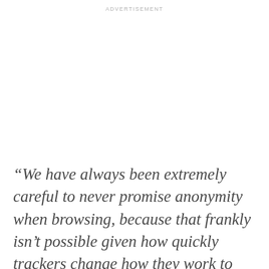ADVERTISEMENT
“We have always been extremely careful to never promise anonymity when browsing, because that frankly isn’t possible given how quickly trackers change how they work to evade protections and the tools we currently offer.